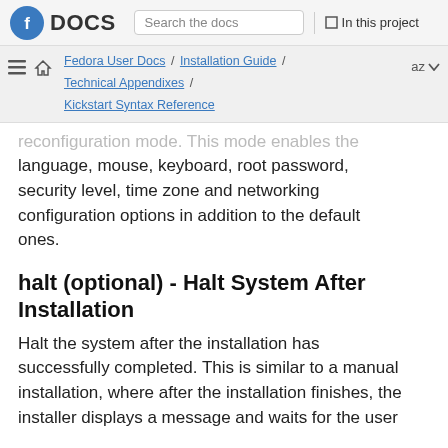Fedora DOCS | Search the docs | In this project
Fedora User Docs / Installation Guide / Technical Appendixes / Kickstart Syntax Reference | az
reconfiguration mode. This mode enables the language, mouse, keyboard, root password, security level, time zone and networking configuration options in addition to the default ones.
halt (optional) - Halt System After Installation
Halt the system after the installation has successfully completed. This is similar to a manual installation, where after the installation finishes, the installer displays a message and waits for the user